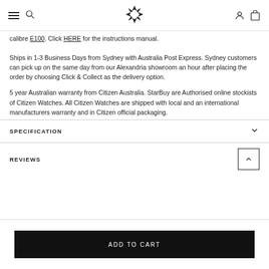Navigation header with hamburger menu, search, logo, account and cart icons
calibre E100. Click HERE for the instructions manual.
Ships in 1-3 Business Days from Sydney with Australia Post Express. Sydney customers can pick up on the same day from our Alexandria showroom an hour after placing the order by choosing Click & Collect as the delivery option.
5 year Australian warranty from Citizen Australia. StarBuy are Authorised online stockists of Citizen Watches. All Citizen Watches are shipped with local and an international manufacturers warranty and in Citizen official packaging.
SPECIFICATION
REVIEWS
ADD TO CART